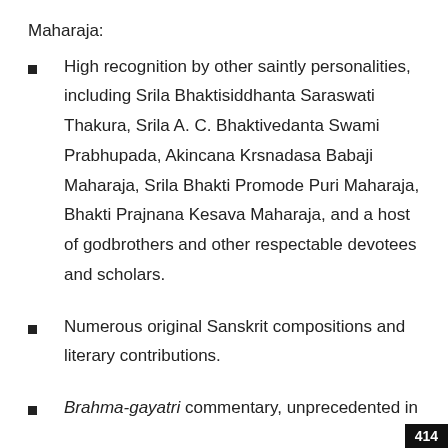Maharaja:
High recognition by other saintly personalities, including Srila Bhaktisiddhanta Saraswati Thakura, Srila A. C. Bhaktivedanta Swami Prabhupada, Akincana Krsnadasa Babaji Maharaja, Srila Bhakti Promode Puri Maharaja, Bhakti Prajnana Kesava Maharaja, and a host of godbrothers and other respectable devotees and scholars.
Numerous original Sanskrit compositions and literary contributions.
Brahma-gayatri commentary, unprecedented in
414